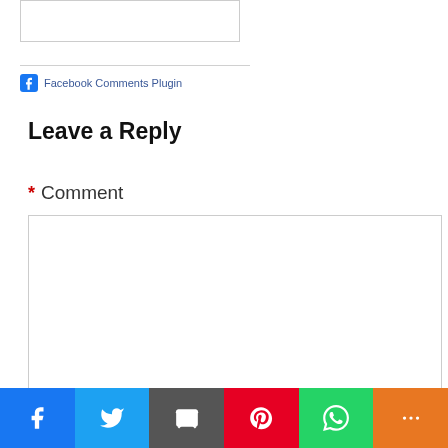[Figure (screenshot): A small textarea input box (Facebook comment box) with resize handle, partially visible at top of page]
Facebook Comments Plugin
Leave a Reply
* Comment
[Figure (screenshot): Large empty textarea for entering a comment]
[Figure (infographic): Social sharing bar with Facebook, Twitter, Email, Pinterest, WhatsApp, and More buttons]